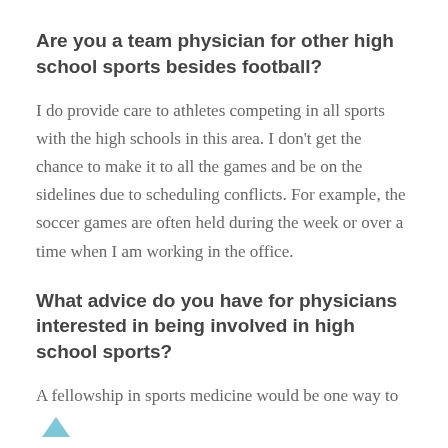Are you a team physician for other high school sports besides football?
I do provide care to athletes competing in all sports with the high schools in this area. I don't get the chance to make it to all the games and be on the sidelines due to scheduling conflicts. For example, the soccer games are often held during the week or over a time when I am working in the office.
What advice do you have for physicians interested in being involved in high school sports?
A fellowship in sports medicine would be one way to start because you get exposure to several levels of